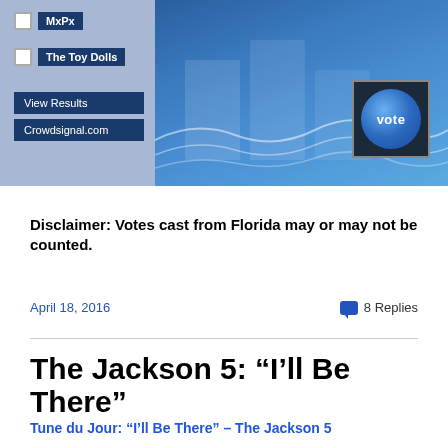[Figure (screenshot): Poll widget with checkboxes for MxPx and The Toy Dolls, View Results and Crowdsignal.com buttons on the left side with a blue decorative background and a vote button on the right side]
Disclaimer: Votes cast from Florida may or may not be counted.
April 18, 2016   8 Replies
The Jackson 5: “I’ll Be There”
Tune du Jour: “I’ll Be There” – The Jackson 5